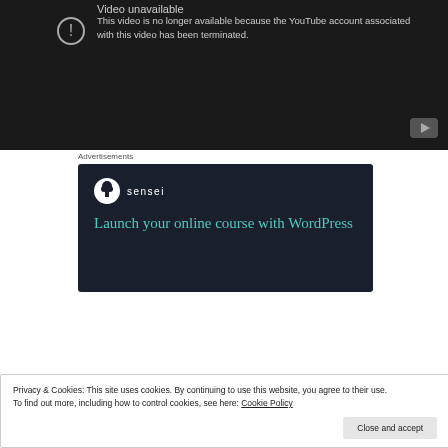[Figure (screenshot): YouTube video unavailable error screen with dark background showing exclamation icon and message: 'This video is no longer available because the YouTube account associated with this video has been terminated.' YouTube logo button at bottom right.]
Advertisements
[Figure (screenshot): Sensei advertisement banner with dark navy background showing Sensei logo (tree in circle) and text 'Launch your online course with WordPress' in teal color.]
Privacy & Cookies: This site uses cookies. By continuing to use this website, you agree to their use.
To find out more, including how to control cookies, see here: Cookie Policy
Close and accept